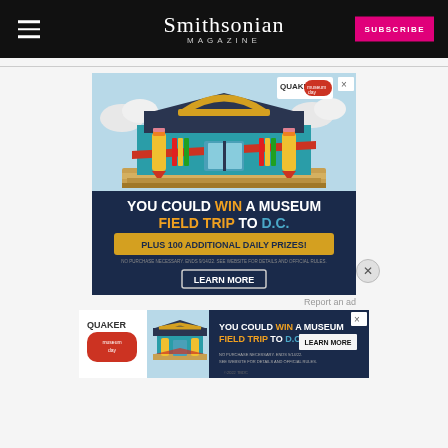Smithsonian MAGAZINE
[Figure (illustration): Quaker Museum Day advertisement: colorful illustrated museum building made of school supplies (pencils, ruler, protractor) with text 'YOU COULD WIN A MUSEUM FIELD TRIP TO D.C. PLUS 100 ADDITIONAL DAILY PRIZES! LEARN MORE']
Report an ad
[Figure (illustration): Quaker Museum Day smaller banner advertisement with same museum building illustration and text 'YOU COULD WIN A MUSEUM FIELD TRIP TO D.C. LEARN MORE NO PURCHASE NECESSARY. ENDS 9/14/22. SEE WEBSITE FOR DETAILS AND OFFICIAL RULES.']